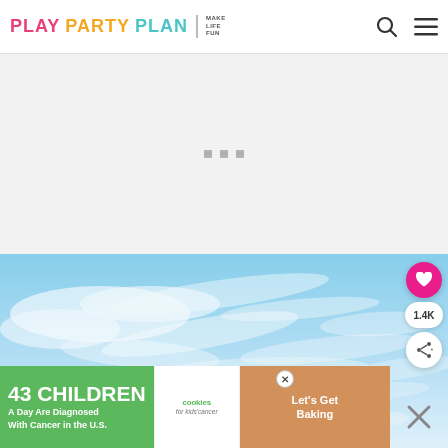PLAY PARTY PLAN | MAKE LIFE FUN
[Figure (screenshot): Gray placeholder loading area with three small gray square dots centered]
[Figure (photo): Blue sky with wispy white cirrus clouds, bright and airy]
1.4K
[Figure (infographic): Advertisement banner: '43 CHILDREN A Day Are Diagnosed With Cancer in the U.S.' with cookies for kids cancer logo and Let's Get Baking CTA]